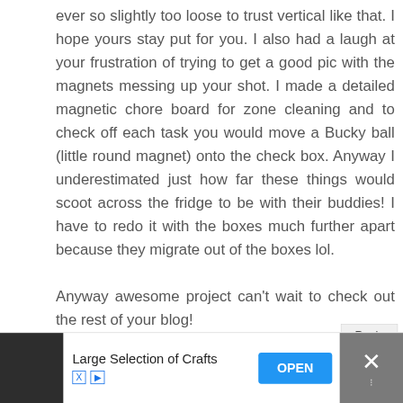ever so slightly too loose to trust vertical like that. I hope yours stay put for you. I also had a laugh at your frustration of trying to get a good pic with the magnets messing up your shot. I made a detailed magnetic chore board for zone cleaning and to check off each task you would move a Bucky ball (little round magnet) onto the check box. Anyway I underestimated just how far these things would scoot across the fridge to be with their buddies! I have to redo it with the boxes much further apart because they migrate out of the boxes lol.
Anyway awesome project can't wait to check out the rest of your blog!
[Figure (screenshot): Advertisement banner at bottom: dark icon on left, 'Large Selection of Crafts' text, blue OPEN button, close button with X on right]